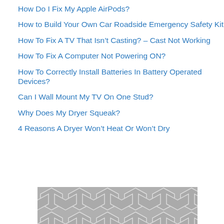How Do I Fix My Apple AirPods?
How to Build Your Own Car Roadside Emergency Safety Kit
How To Fix A TV That Isn’t Casting? – Cast Not Working
How To Fix A Computer Not Powering ON?
How To Correctly Install Batteries In Battery Operated Devices?
Can I Wall Mount My TV On One Stud?
Why Does My Dryer Squeak?
4 Reasons A Dryer Won’t Heat Or Won’t Dry
[Figure (illustration): Decorative hexagonal tile pattern in grey and white]